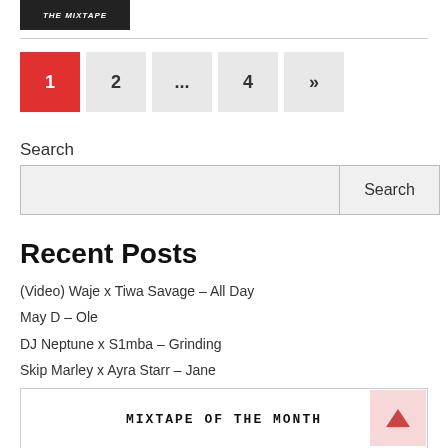[Figure (photo): Mixtape album art thumbnail with dark background and 'THE MIXTAPE' text]
1  2  ...  4  »
Search
Search [input box] [Search button]
Recent Posts
(Video) Waje x Tiwa Savage – All Day
May D – Ole
DJ Neptune x S1mba – Grinding
Skip Marley x Ayra Starr – Jane
Joshua Adere x AV – Home Boy
MIXTAPE OF THE MONTH